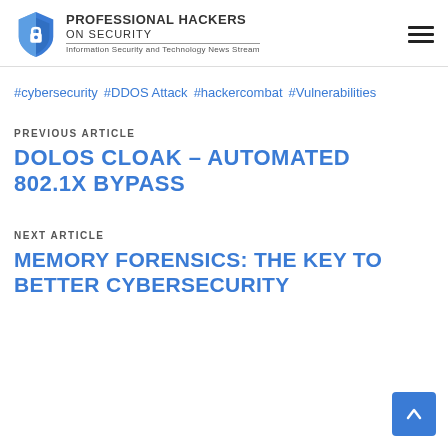Professional Hackers On Security — Information Security and Technology News Stream
#cybersecurity  #DDOS Attack  #hackercombat  #Vulnerabilities
PREVIOUS ARTICLE
DOLOS CLOAK – AUTOMATED 802.1X BYPASS
NEXT ARTICLE
MEMORY FORENSICS: THE KEY TO BETTER CYBERSECURITY